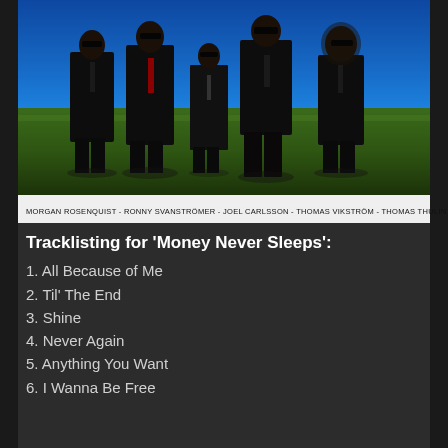[Figure (photo): Five men in black suits and sunglasses standing on a grassy field under a bright blue sky. One has a red tie. The central figure wears leather pants and a tie. Band promotional photo.]
MORGAN ROSENQUIST - RONNY SVANSTRÖMER - JOEL CARLSSON - THOMAS VIKSTRÖM - THOMAS THULIN
Tracklisting for 'Money Never Sleeps':
1. All Because of Me
2. Til' The End
3. Shine
4. Never Again
5. Anything You Want
6. I Wanna Be Free